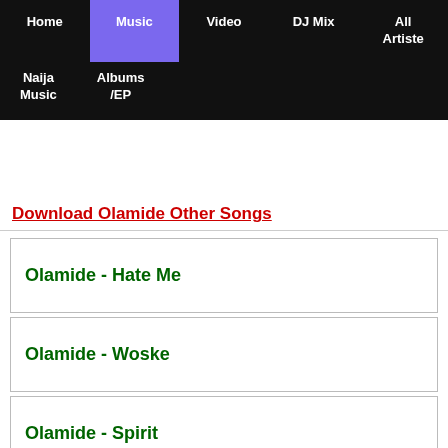Home | Music | Video | DJ Mix | All Artiste | Naija Music | Albums /EP
Download Olamide Other Songs
Olamide - Hate Me
Olamide - Woske
Olamide - Spirit